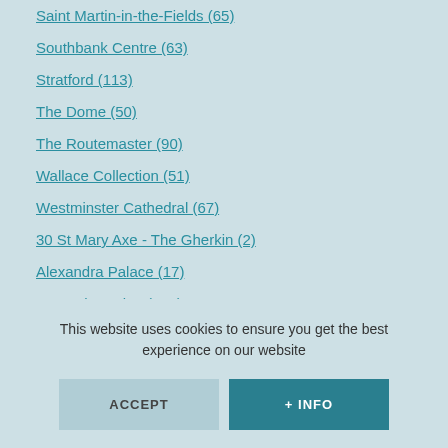Saint Martin-in-the-Fields (65)
Southbank Centre (63)
Stratford (113)
The Dome (50)
The Routemaster (90)
Wallace Collection (51)
Westminster Cathedral (67)
30 St Mary Axe - The Gherkin (2)
Alexandra Palace (17)
Borough Market (105)
Charing Cross (47)
Dr. Johnson's House (120)
Harrods Department Store (77)
This website uses cookies to ensure you get the best experience on our website
ACCEPT
+ INFO